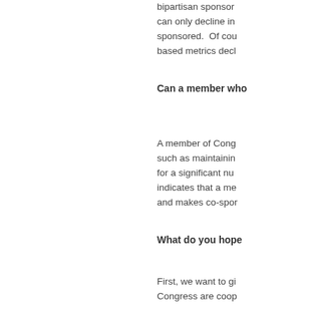bipartisan sponsorship can only decline in sponsored.  Of course, based metrics decl
Can a member who
A member of Cong such as maintainin for a significant nu indicates that a me and makes co-spon
What do you hope
First, we want to gi Congress are coop